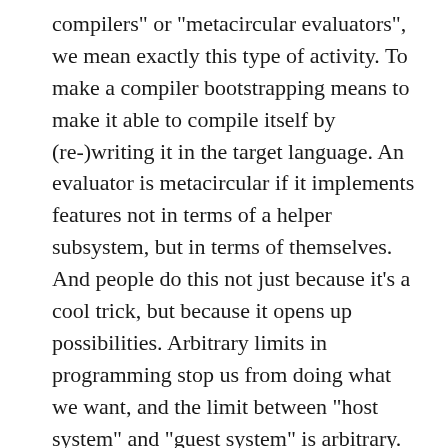compilers" or "metacircular evaluators", we mean exactly this type of activity. To make a compiler bootstrapping means to make it able to compile itself by (re-)writing it in the target language. An evaluator is metacircular if it implements features not in terms of a helper subsystem, but in terms of themselves. And people do this not just because it's a cool trick, but because it opens up possibilities. Arbitrary limits in programming stop us from doing what we want, and the limit between “host system” and “guest system” is arbitrary.
In other words, if you’re seriously interested in extensibility, then you’re also likely interested in strange loops. That’s why you see these ideas floated around in the Lisp communities a